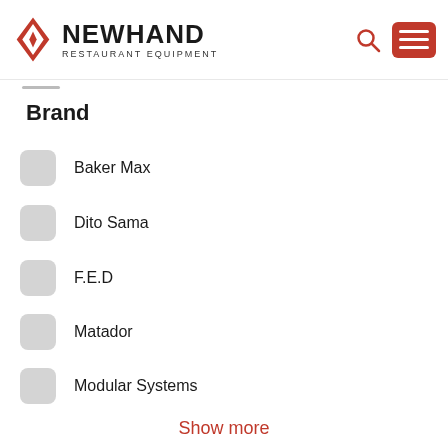NEWHAND RESTAURANT EQUIPMENT
Brand
Baker Max
Dito Sama
F.E.D
Matador
Modular Systems
Show more